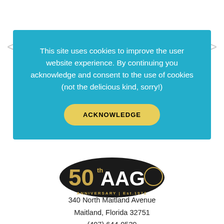This site uses cookies to improve the user website experience. By continuing you acknowledge and consent to the use of cookies (not the delicious kind, sorry!)
ACKNOWLEDGE
[Figure (logo): AAGO 50th Anniversary logo, Est. 1972]
340 North Maitland Avenue
Maitland, Florida 32751
(407) 644-0539